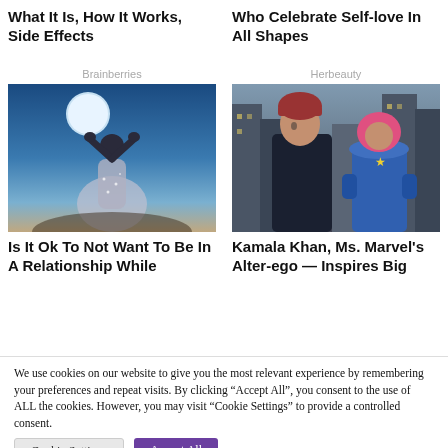What It Is, How It Works, Side Effects
Brainberries
[Figure (photo): Woman in sparkly dress with back turned, standing under a full moon in a blue night sky]
Is It Ok To Not Want To Be In A Relationship While
Who Celebrate Self-love In All Shapes
Herbeauty
[Figure (photo): Two people in a city street scene; one wearing a red beanie and dark jacket, the other in a superhero costume with blue and pink colors]
Kamala Khan, Ms. Marvel's Alter-ego — Inspires Big
We use cookies on our website to give you the most relevant experience by remembering your preferences and repeat visits. By clicking “Accept All”, you consent to the use of ALL the cookies. However, you may visit “Cookie Settings” to provide a controlled consent.
Cookie Settings
Accept All